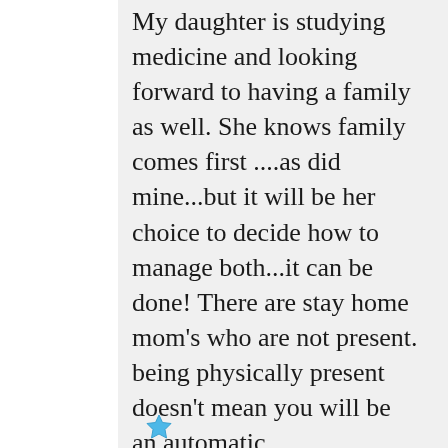My daughter is studying medicine and looking forward to having a family as well. She knows family comes first ....as did mine...but it will be her choice to decide how to manage both...it can be done! There are stay home mom's who are not present. being physically present doesn't mean you will be an automatic homemaker...nor should having a career mean you will not.